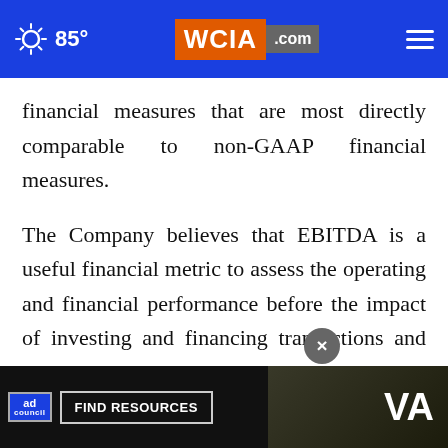85° WCIA.com
financial measures that are most directly comparable to non-GAAP financial measures.
The Company believes that EBITDA is a useful financial metric to assess the operating and financial performance before the impact of investing and financing transactions and income taxes, given the significant investments that the Company has made in leasehold improvements, depreciation and amortization... that comparable... Company's
[Figure (screenshot): Advertisement banner overlay at bottom of page: Ad Council logo, 'FIND RESOURCES' button, VA logo, with close button (×)]